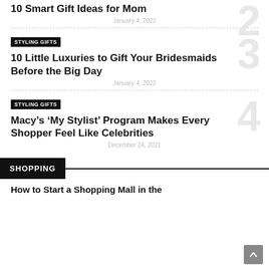10 Smart Gift Ideas for Mom
January 4, 2022
STYLING GIFTS
10 Little Luxuries to Gift Your Bridesmaids Before the Big Day
January 4, 2022
STYLING GIFTS
Macy’s ‘My Stylist’ Program Makes Every Shopper Feel Like Celebrities
December 24, 2021
SHOPPING
How to Start a Shopping Mall in the Future